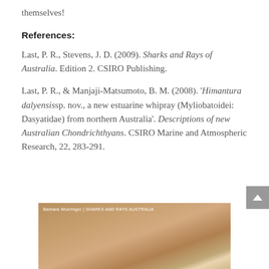themselves!
References:
Last, P. R., Stevens, J. D. (2009). Sharks and Rays of Australia. Edition 2. CSIRO Publishing.
Last, P. R., & Manjaji-Matsumoto, B. M. (2008). 'Himantura dalyensis sp. nov., a new estuarine whipray (Myliobatoidei: Dasyatidae) from northern Australia'. Descriptions of new Australian Chondrichthyans. CSIRO Marine and Atmospheric Research, 22, 283-291.
[Figure (photo): Close-up photograph of what appears to be a ray or shark skin texture, with watermark text 'Barbara Wueringer | SHARKS AND RAYS AUSTRALIA']